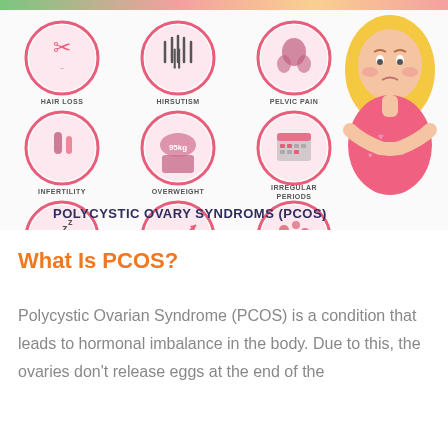[Figure (infographic): PCOS symptoms infographic with 9 circular icons arranged in a 3x3 grid showing: Hair Loss, Hirsutism, Pelvic Pain, Infertility, Overweight, Irregular Periods, Fatigue, High Testosterone Levels, Acne. A cartoon illustration of a sad woman with blonde hair and pink top is shown on the right side.]
POLYCYSTIC OVARY SYNDROMS (PCOS)
What Is PCOS?
Polycystic Ovarian Syndrome (PCOS) is a condition that leads to hormonal imbalance in the body. Due to this, the ovaries don’t release eggs at the end of the